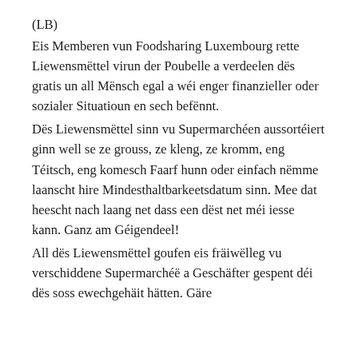(LB)
Eis Memberen vun Foodsharing Luxembourg rette Liewensmëttel virun der Poubelle a verdeelen dës gratis un all Mënsch egal a wéi enger finanzieller oder sozialer Situatioun en sech befënnt.
Dës Liewensmëttel sinn vu Supermarchéen aussortéiert ginn well se ze grouss, ze kleng, ze kromm, eng Téitsch, eng komesch Faarf hunn oder einfach nëmme laanscht hire Mindesthaltbarkeetsdatum sinn. Mee dat heescht nach laang net dass een dëst net méi iesse kann. Ganz am Géigendeel!
All dës Liewensmëttel goufen eis fräiwëlleg vu verschiddene Supermarchéë a Geschäfter gespent déi dës soss ewechgehäit hätten. Gäre bitte...